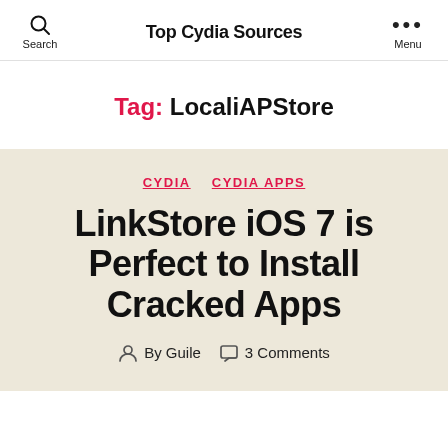Top Cydia Sources
Tag: LocaliAPStore
CYDIA  CYDIA APPS
LinkStore iOS 7 is Perfect to Install Cracked Apps
By Guile  3 Comments